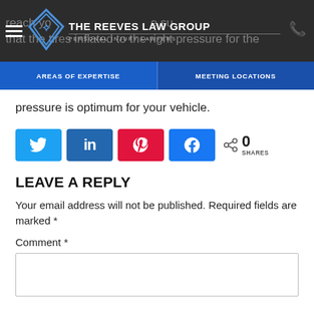The Reeves Law Group — Personal Injury Lawyers
pressure is optimum for your vehicle.
[Figure (infographic): Social share buttons: Twitter (blue), LinkedIn (dark blue), Pinterest (red), Facebook (blue), with share count showing 0 SHARES]
LEAVE A REPLY
Your email address will not be published. Required fields are marked *
Comment *